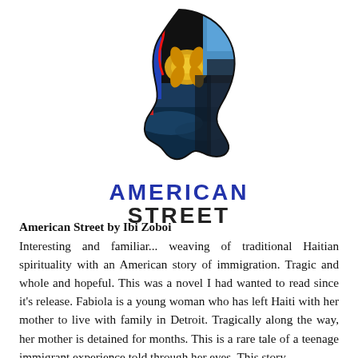[Figure (illustration): Silhouette of a woman's head in profile filled with colorful Haitian-themed imagery including tropical flowers, red and blue ribbons, ocean scenes, and dark textures. Above the silhouette text reads AMERICAN STREET in bold letters, AMERICAN in blue and STREET in dark/black.]
American Street by Ibi Zoboi
Interesting and familiar... weaving of traditional Haitian spirituality with an American story of immigration. Tragic and whole and hopeful. This was a novel I had wanted to read since it's release. Fabiola is a young woman who has left Haiti with her mother to live with family in Detroit. Tragically along the way, her mother is detained for months. This is a rare tale of a teenage immigrant experience told through her eyes. This story